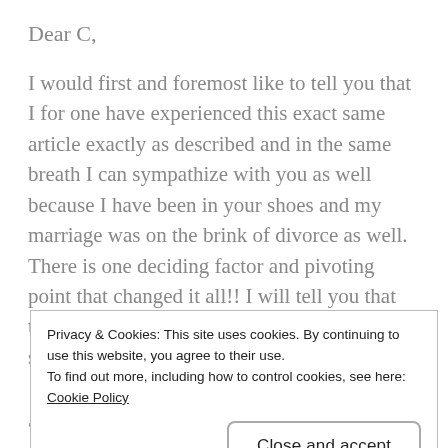Dear C,
I would first and foremost like to tell you that I for one have experienced this exact same article exactly as described and in the same breath I can sympathize with you as well because I have been in your shoes and my marriage was on the brink of divorce as well. There is one deciding factor and pivoting point that changed it all!! I will tell you that the only way to true love is the one that is sacrificial. There are 3 different levels of love:
Privacy & Cookies: This site uses cookies. By continuing to use this website, you agree to their use.
To find out more, including how to control cookies, see here: Cookie Policy
Close and accept
“lust” is what I like to call it and where the